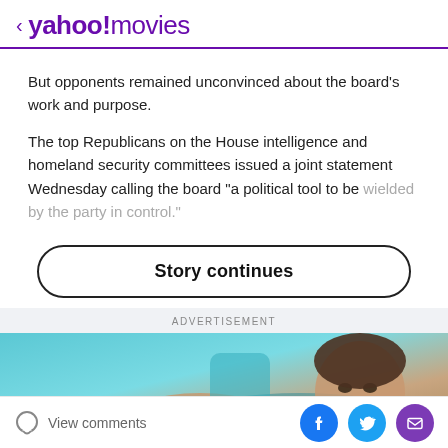< yahoo! movies
But opponents remained unconvinced about the board's work and purpose.
The top Republicans on the House intelligence and homeland security committees issued a joint statement Wednesday calling the board “a political tool to be wielded by the party in control.”
Story continues
ADVERTISEMENT
[Figure (photo): Partial view of a person in a car, advertisement image]
View comments